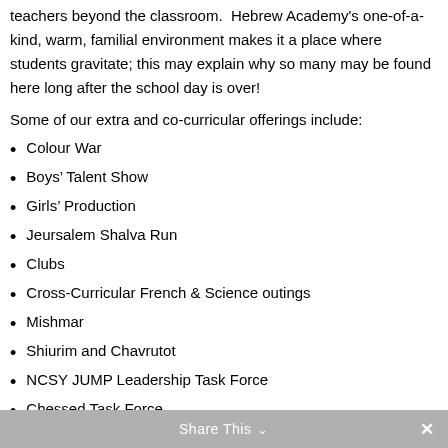teachers beyond the classroom. Hebrew Academy's one-of-a-kind, warm, familial environment makes it a place where students gravitate; this may explain why so many may be found here long after the school day is over!
Some of our extra and co-curricular offerings include:
Colour War
Boys’ Talent Show
Girls’ Production
Jeursalem Shalva Run
Clubs
Cross-Curricular French & Science outings
Mishmar
Shiurim and Chavrutot
NCSY JUMP Leadership Task Force
Chessed Task Force
Girls’ Sleepover